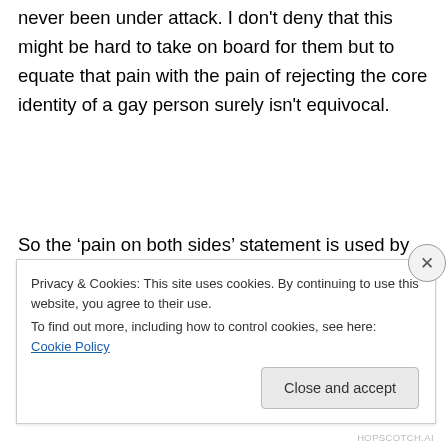never been under attack. I don't deny that this might be hard to take on board for them but to equate that pain with the pain of rejecting the core identity of a gay person surely isn't equivocal.
So the ‘pain on both sides’ statement is used by people who are genuinely trying to listen to all the voices in the discussion and facilitate a fruitful conversation, which is in itself an admirable aim. However, it’s also used by those
Privacy & Cookies: This site uses cookies. By continuing to use this website, you agree to their use.
To find out more, including how to control cookies, see here: Cookie Policy
Close and accept
HOPSCOTCH.AI